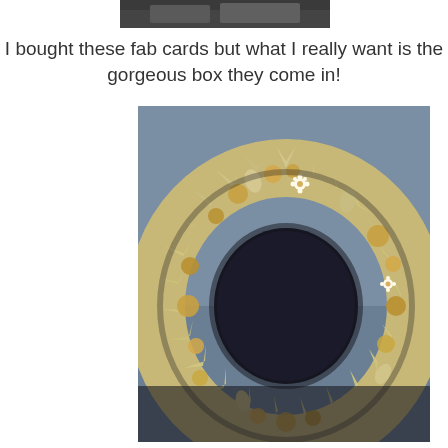[Figure (photo): Partial top of a photo visible at the top of the page, dark background]
I bought these fab cards but what I really want is the gorgeous box they come in!
[Figure (photo): A decorative wreath made of natural materials including leaves, dried flowers, wood slices, and shells, photographed against a blue-grey background. The wreath is golden/cream in color with dark accents.]